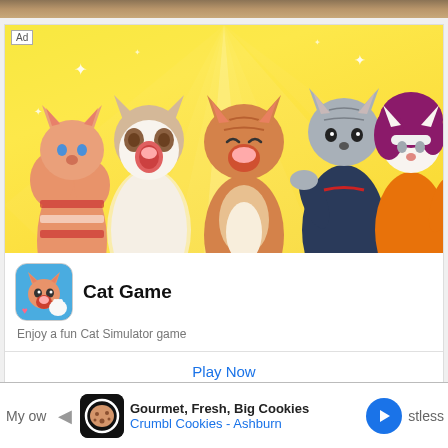[Figure (screenshot): Top strip showing a blurred wooden background image]
[Figure (illustration): Advertisement banner for Cat Game app. Yellow sunray background with five cartoon cat characters dressed in various outfits. Ad label in top-left corner.]
[Figure (illustration): Cat Game app icon - orange cat on blue background]
Cat Game
Enjoy a fun Cat Simulator game
Play Now
[Figure (infographic): Bottom advertisement bar for Crumbl Cookies - Ashburn with navigation arrow and close button. Shows cookie icon, text 'Gourmet, Fresh, Big Cookies' and 'Crumbl Cookies - Ashburn']
My ow
Gourmet, Fresh, Big Cookies
Crumbl Cookies - Ashburn
stless